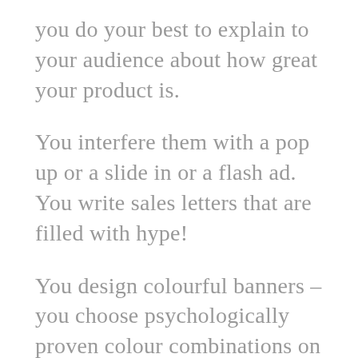you do your best to explain to your audience about how great your product is.
You interfere them with a pop up or a slide in or a flash ad. You write sales letters that are filled with hype!
You design colourful banners – you choose psychologically proven colour combinations on your banner ads so you can make people click through.
You set a time limit for your offers and push people to get on it. All this is powerful